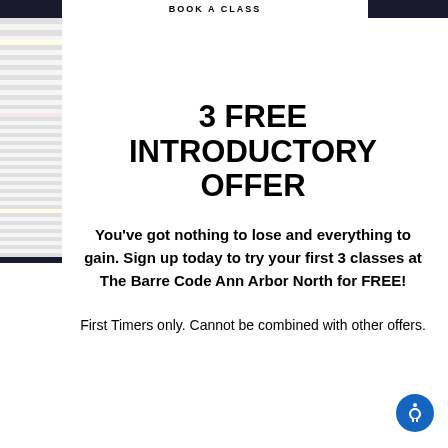BOOK A CLASS
3 FREE INTRODUCTORY OFFER
You've got nothing to lose and everything to gain. Sign up today to try your first 3 classes at The Barre Code Ann Arbor North for FREE!
First Timers only. Cannot be combined with other offers.